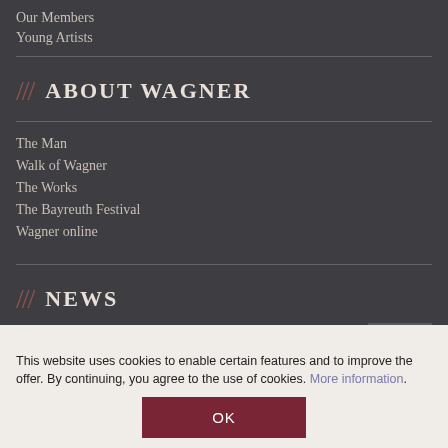Our Members
Young Artists
/// ABOUT WAGNER
The Man
Walk of Wagner
The Works
The Bayreuth Festival
Wagner online
/// NEWS
News from the Committee
News from the Members
Newsletter
This website uses cookies to enable certain features and to improve the offer. By continuing, you agree to the use of cookies. More information.
OK